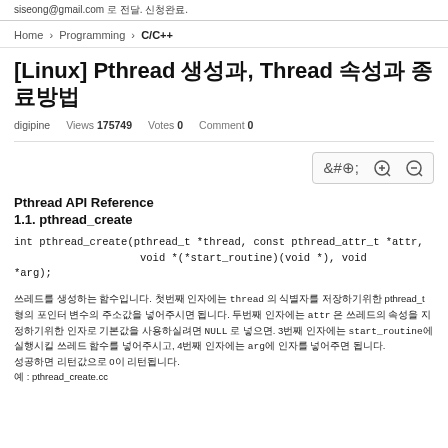siseong@gmail.com 로 전달. 신청완료.
Home › Programming › C/C++
[Linux] Pthread 생성과, Thread 속성과 종료방법
digipine   Views 175749   Votes 0   Comment 0
[Figure (other): Zoom in/out controls box with magnifying glass icons]
Pthread API Reference
1.1. pthread_create
쓰레드를 생성하는 함수입니다. 첫번째 인자에는 thread 의 식별자를 저장하기위한 pthread_t형의 포인터 변수의 주소값을 넣어주시면 됩니다. 두번째 인자에는 attr 은 쓰레드의 속성을 지정하기위한 인자로 기본값을 사용하실려면 NULL 로 넣으면. 3번째 인자에는 start_routine에 실행시킬 쓰레드 함수를 넣어주시고, 4번째 인자에는 arg에 인자를 넣어주면 됩니다.
성공하면 리턴값으로 0이 리턴됩니다.
예 : pthread_create.cc